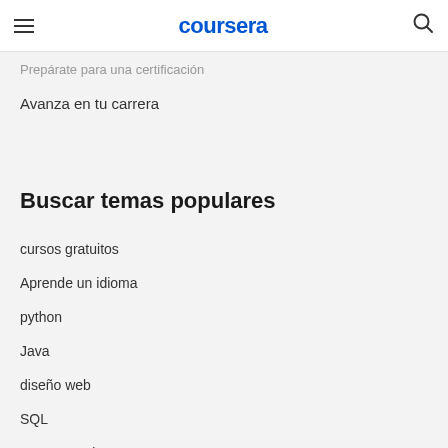coursera
Prepárate para una certificación
Avanza en tu carrera
Buscar temas populares
cursos gratuitos
Aprende un idioma
python
Java
diseño web
SQL
Cursos gratis
Microsoft Excel